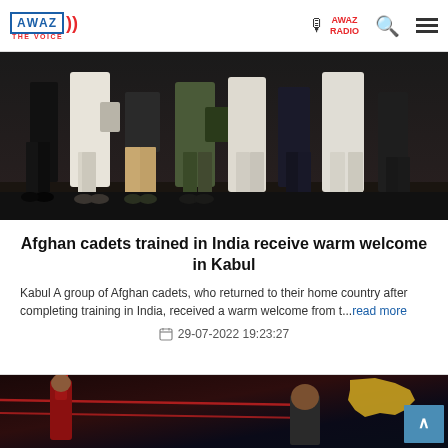AWAZ THE VOICE | AWAZ RADIO
[Figure (photo): Group of people walking, Afghan cadets returning from India, lower body shot showing multiple individuals in various traditional and modern clothing]
Afghan cadets trained in India receive warm welcome in Kabul
Kabul A group of Afghan cadets, who returned to their home country after completing training in India, received a warm welcome from t...read more
29-07-2022 19:23:27
[Figure (photo): Boxing or sports scene with person in red gear raising arm, with a map graphic (Kashmir region) visible in background, dark setting]